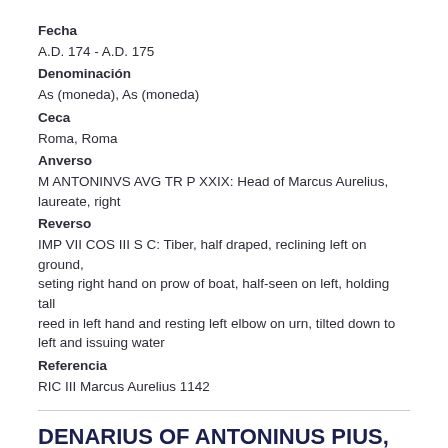Fecha
A.D. 174 - A.D. 175
Denominación
As (moneda), As (moneda)
Ceca
Roma, Roma
Anverso
M ANTONINVS AVG TR P XXIX: Head of Marcus Aurelius, laureate, right
Reverso
IMP VII COS III S C: Tiber, half draped, reclining left on ground, seting right hand on prow of boat, half-seen on left, holding tall reed in left hand and resting left elbow on urn, tilted down to left and issuing water
Referencia
RIC III Marcus Aurelius 1142
DENARIUS OF ANTONINUS PIUS, ROME, A.D. 140-A.D. 143. 1989.19.12.
Fecha
A.D. 140 - A.D. 143